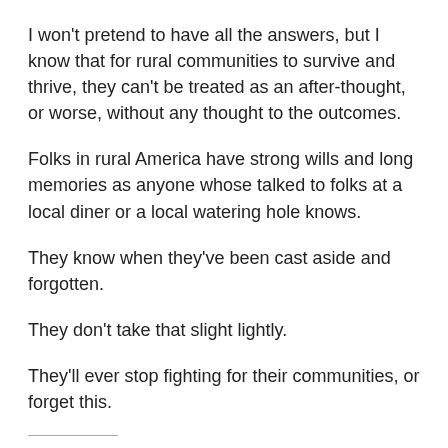I won't pretend to have all the answers, but I know that for rural communities to survive and thrive, they can't be treated as an after-thought, or worse, without any thought to the outcomes.
Folks in rural America have strong wills and long memories as anyone whose talked to folks at a local diner or a local watering hole knows.
They know when they've been cast aside and forgotten.
They don't take that slight lightly.
They'll ever stop fighting for their communities, or forget this.
Share this: